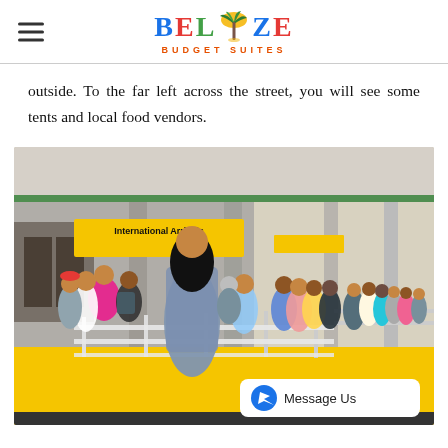Belize Budget Suites
outside. To the far left across the street, you will see some tents and local food vendors.
[Figure (photo): Photo of the International Arrivals area at Philip Goldson International Airport in Belize City, showing crowds of people waiting behind metal barriers on a yellow-floored covered walkway, with a yellow International Arrivals sign visible.]